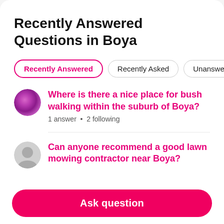Recently Answered Questions in Boya
Recently Answered
Recently Asked
Unanswered
Where is there a nice place for bush walking within the suburb of Boya?
1 answer • 2 following
Can anyone recommend a good lawn mowing contractor near Boya?
Ask question